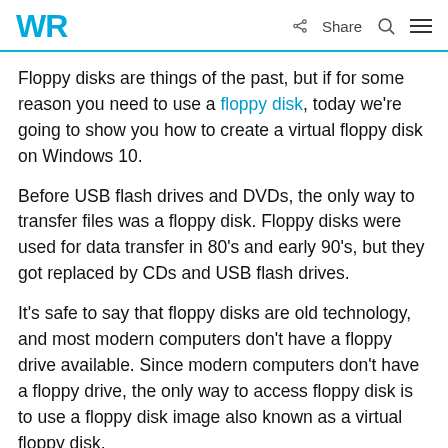WR | Share
Floppy disks are things of the past, but if for some reason you need to use a floppy disk, today we're going to show you how to create a virtual floppy disk on Windows 10.
Before USB flash drives and DVDs, the only way to transfer files was a floppy disk. Floppy disks were used for data transfer in 80's and early 90's, but they got replaced by CDs and USB flash drives.
It's safe to say that floppy disks are old technology, and most modern computers don't have a floppy drive available. Since modern computers don't have a floppy drive, the only way to access floppy disk is to use a floppy disk image also known as a virtual floppy disk.